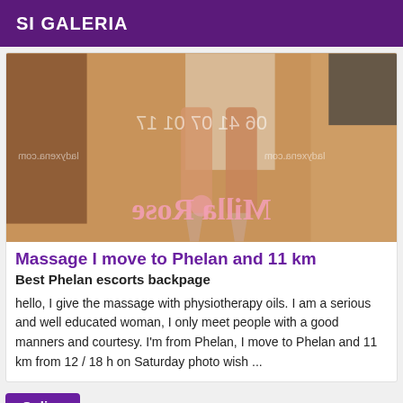SI GALERIA
[Figure (photo): Photo showing legs/feet of a person in heels on a wooden floor, with mirrored watermark text showing phone number '06 41 07 01 17' and 'ladyxena.com', and mirrored 'Milla Rose' branding text in pink]
Massage I move to Phelan and 11 km
Best Phelan escorts backpage
hello, I give the massage with physiotherapy oils. I am a serious and well educated woman, I only meet people with a good manners and courtesy. I'm from Phelan, I move to Phelan and 11 km from 12 / 18 h on Saturday photo wish ...
Online